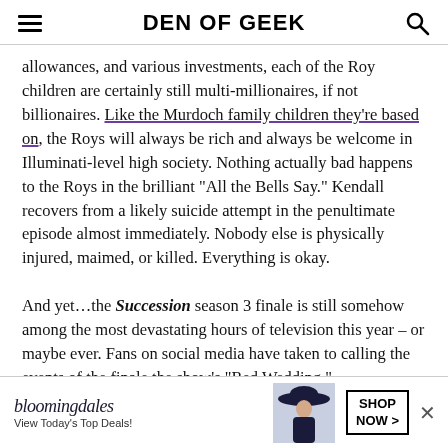DEN OF GEEK
allowances, and various investments, each of the Roy children are certainly still multi-millionaires, if not billionaires. Like the Murdoch family children they're based on, the Roys will always be rich and always be welcome in Illuminati-level high society. Nothing actually bad happens to the Roys in the brilliant “All the Bells Say.” Kendall recovers from a likely suicide attempt in the penultimate episode almost immediately. Nobody else is physically injured, maimed, or killed. Everything is okay.
And yet…the Succession season 3 finale is still somehow among the most devastating hours of television this year – or maybe ever. Fans on social media have taken to calling the events of the finale the show’s “Red Wedding,”
[Figure (other): Bloomingdale's advertisement banner at bottom of page: logo, 'View Today's Top Deals!' text, woman in hat photo, 'SHOP NOW >' button, and close X button]